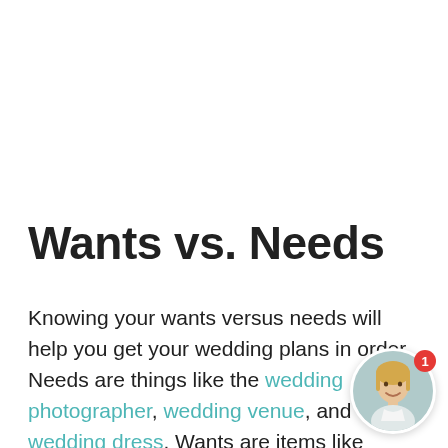Wants vs. Needs
Knowing your wants versus needs will help you get your wedding plans in order. Needs are things like the wedding photographer, wedding venue, and wedding dress. Wants are items like wedding flowers, wedding cake, wedding decorations, and wedding favors. The wants are all important items too but keep them on the wants list to start and add them to the needs list as you make plans and acquire them. Makes a wants vs. needs list w[ith] you decide which items are most important to you and
[Figure (photo): Circular avatar photo of a woman smiling, with a red notification badge showing the number 1 in the top right corner.]